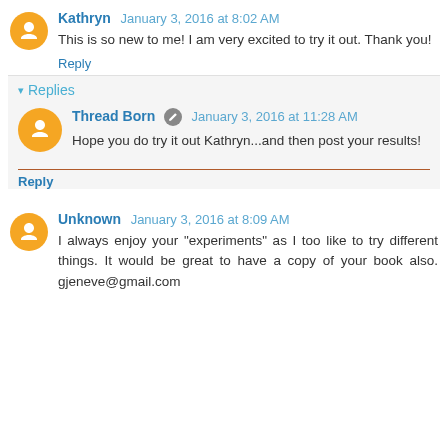Kathryn January 3, 2016 at 8:02 AM
This is so new to me! I am very excited to try it out. Thank you!
Reply
Replies
Thread Born January 3, 2016 at 11:28 AM
Hope you do try it out Kathryn...and then post your results!
Reply
Unknown January 3, 2016 at 8:09 AM
I always enjoy your "experiments" as I too like to try different things. It would be great to have a copy of your book also. gjeneve@gmail.com